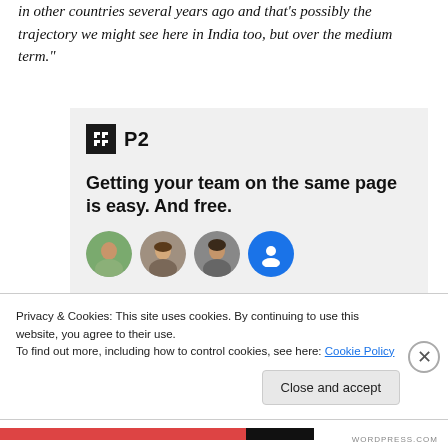in other countries several years ago and that's possibly the trajectory we might see here in India too, but over the medium term."
[Figure (screenshot): P2 advertisement box with logo, headline 'Getting your team on the same page is easy. And free.' and circular avatar images of team members.]
Privacy & Cookies: This site uses cookies. By continuing to use this website, you agree to their use.
To find out more, including how to control cookies, see here: Cookie Policy
Close and accept